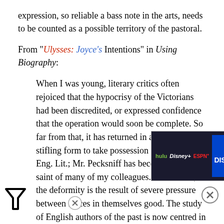expression, so reliable a bass note in the arts, needs to be counted as a possible territory of the pastoral.
From "Ulysses: Joyce's Intentions" in Using Biography:
When I was young, literary critics often rejoiced that the hypocrisy of the Victorians had been discredited, or expressed confidence that the operation would soon be complete. So far from that, it has returned in a peculiarly stifling form to take possession of critics of Eng. Lit.; Mr. Pecksniff has become the patron saint of many of my colleagues. As so often, the deformity is the result of severe pressure between forces in themselves good. The study of English authors of the past is now centred in the universities, and yet there must be no censorship—no work of admitted literary merit… we must be safe from the indignant or jeering students, local authorities or parents. It thus comes to be taken as a...
[Figure (infographic): Advertisement banner for Disney Bundle (Hulu + Disney+ + ESPN+) with dark background, logos, blue CTA button, and fine print.]